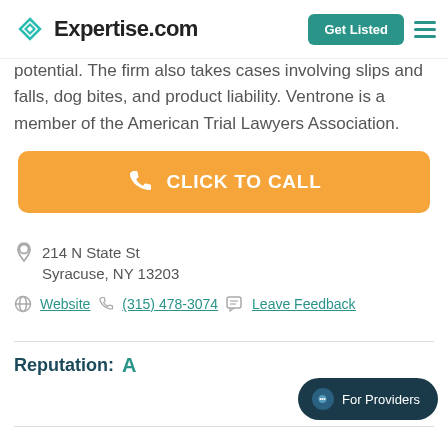Expertise.com
potential. The firm also takes cases involving slips and falls, dog bites, and product liability. Ventrone is a member of the American Trial Lawyers Association.
CLICK TO CALL
214 N State St
Syracuse, NY 13203
Website  (315) 478-3074  Leave Feedback
Reputation:  A